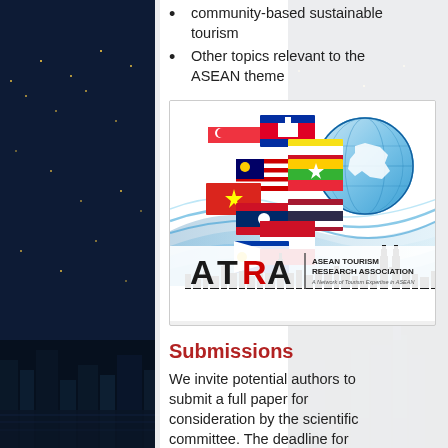community-based sustainable tourism
Other topics relevant to the ASEAN theme
[Figure (logo): ASEAN Tourism Research Association (ATRA) logo with ASEAN country flags, globe graphic, decorative wave design, and city skyline silhouette]
Submissions
We invite potential authors to submit a full paper for consideration by the scientific committee. The deadline for